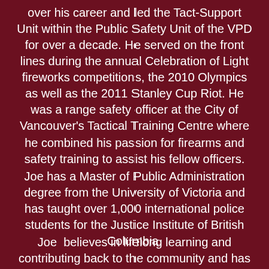over his career and led the Tact-Support Unit within the Public Safety Unit of the VPD for over a decade. He served on the front lines during the annual Celebration of Light fireworks competitions, the 2010 Olympics as well as the 2011 Stanley Cup Riot. He was a range safety officer at the City of Vancouver's Tactical Training Centre where he combined his passion for firearms and safety training to assist his fellow officers.
Joe has a Master of Public Administration degree from the University of Victoria and has taught over 1,000 international police students for the Justice Institute of British Columbia.
Joe  believes in lifelong learning and contributing back to the community and has volunteered with a number of